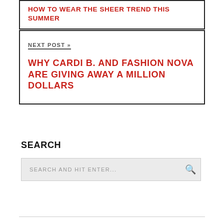HOW TO WEAR THE SHEER TREND THIS SUMMER
NEXT POST »
WHY CARDI B. AND FASHION NOVA ARE GIVING AWAY A MILLION DOLLARS
SEARCH
SEARCH AND HIT ENTER...